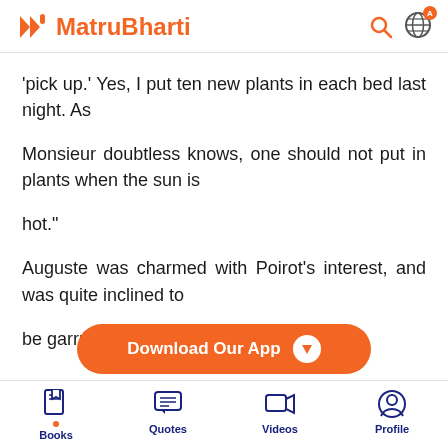MatruBharti
‘pick up.’ Yes, I put ten new plants in each bed last night. As
Monsieur doubtless knows, one should not put in plants when the sun is
hot.”
Auguste was charmed with Poirot’s interest, and was quite inclined to
be garrulous.
[Figure (screenshot): Download Our App button — orange pill-shaped banner with download arrow icon]
Books | Quotes | Videos | Profile